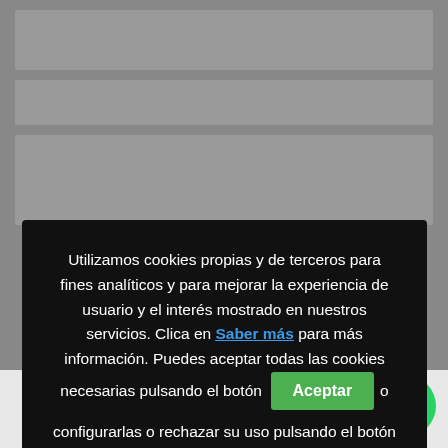[Figure (screenshot): Gray webpage background with partially visible content behind cookie consent modal]
Utilizamos cookies propias y de terceros para fines analíticos y para mejorar la experiencia de usuario y el interés mostrado en nuestros servicios. Clica en Saber más para más información. Puedes aceptar todas las cookies necesarias pulsando el botón Aceptar o configurarlas o rechazar su uso pulsando el botón Configuración.
CAJA DE CAMBIOS MANUAL
CAJA DE CAMBIOS MANUAL SEAT ALTEA XL 2.0 TDI 16V 4×4 (103 KW / 140 CV) (10.2010